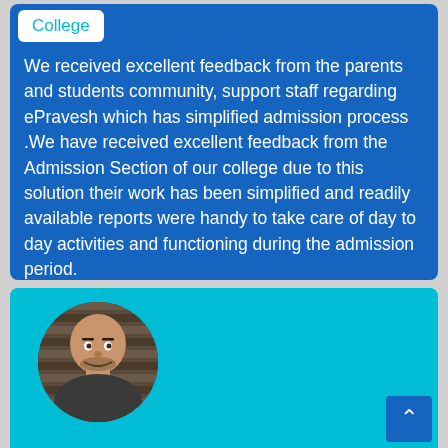College
We received excellent feedback from the parents and students community, support staff regarding ePravesh which has simplified admission process .We have received excellent feedback from the Admission Section of our college due to this solution their work has been simplified and readily available reports were handy to take care of day to day activities and functioning during the admission period.
[Figure (photo): Circular profile photo of a bald man against a striped background, shown in the lower teal section of the page.]